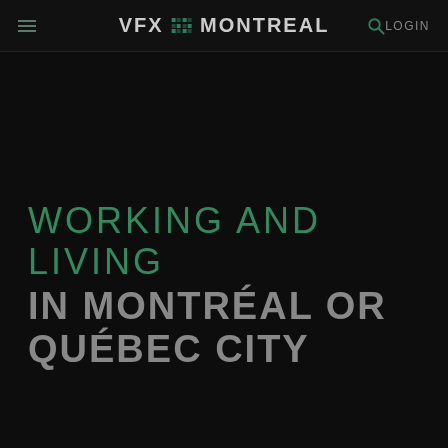VFX MONTREAL  LOGIN
WORKING AND LIVING IN MONTRÉAL OR QUÉBEC CITY